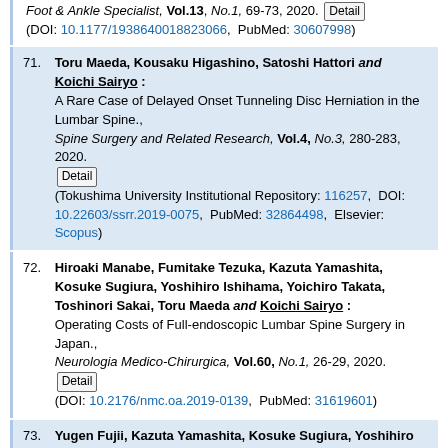(top fragment) Foot & Ankle Specialist, Vol.13, No.1, 69-73, 2020. Detail (DOI: 10.1177/1938640018823066, PubMed: 30607998)
71. Toru Maeda, Kousaku Higashino, Satoshi Hattori and Koichi Sairyo : A Rare Case of Delayed Onset Tunneling Disc Herniation in the Lumbar Spine., Spine Surgery and Related Research, Vol.4, No.3, 280-283, 2020. Detail (Tokushima University Institutional Repository: 116257, DOI: 10.22603/ssrr.2019-0075, PubMed: 32864498, Elsevier: Scopus)
72. Hiroaki Manabe, Fumitake Tezuka, Kazuta Yamashita, Kosuke Sugiura, Yoshihiro Ishihama, Yoichiro Takata, Toshinori Sakai, Toru Maeda and Koichi Sairyo : Operating Costs of Full-endoscopic Lumbar Spine Surgery in Japan., Neurologia Medico-Chirurgica, Vol.60, No.1, 26-29, 2020. Detail (DOI: 10.2176/nmc.oa.2019-0139, PubMed: 31619601)
73. Yugen Fujii, Kazuta Yamashita, Kosuke Sugiura, Yoshihiro Ishihama, Hiroaki Manabe, Fumitake Tezuka, Yoichiro Takata, Toshinori Sakai, Toru Maeda and Koichi Sairyo : Early return to activity after minimally invasive full endoscopic decompression surgery in medical doctors., Journal of Spine Surgery, Vol.6, No.Suppl 1, S294-S299, 2020. Detail